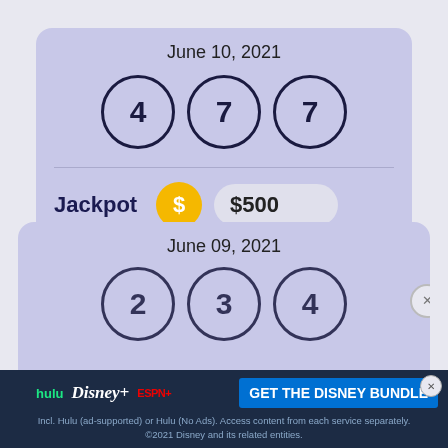June 10, 2021
[Figure (infographic): Three lottery balls showing numbers 4, 7, 7 in circles on a purple background]
Jackpot  $500
June 09, 2021
[Figure (infographic): Three partially visible lottery balls with numbers 2, 3, 4 on purple background]
[Figure (infographic): Disney Bundle advertisement banner: hulu Disney+ ESPN+ GET THE DISNEY BUNDLE. Incl. Hulu (ad-supported) or Hulu (No Ads). Access content from each service separately. ©2021 Disney and its related entities.]